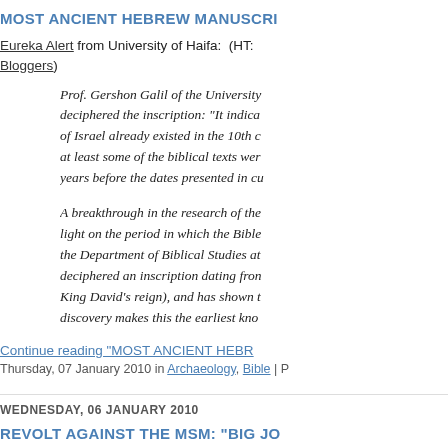MOST ANCIENT HEBREW MANUSCRI...
Eureka Alert from University of Haifa:  (HT: ... Bloggers)
Prof. Gershon Galil of the University... deciphered the inscription: "It indica... of Israel already existed in the 10th c... at least some of the biblical texts wer... years before the dates presented in c...
A breakthrough in the research of the... light on the period in which the Bible... the Department of Biblical Studies at... deciphered an inscription dating from... King David's reign), and has shown t... discovery makes this the earliest kno...
Continue reading "MOST ANCIENT HEBR...
Thursday, 07 January 2010 in Archaeology, Bible | P...
WEDNESDAY, 06 JANUARY 2010
REVOLT AGAINST THE MSM: "BIG JO...